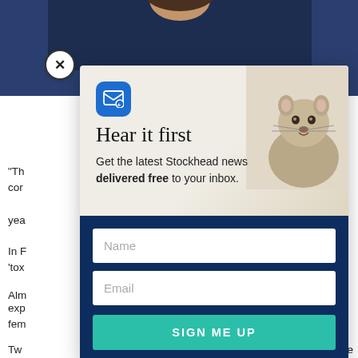[Figure (screenshot): Background article page with partially visible text and a person photo at top]
[Figure (screenshot): Email newsletter signup modal popup. Top section has a blue email icon, 'Hear it first' heading, subtitle text 'Get the latest Stockhead news delivered free to your inbox.' with a groundhog/marmot animal image at the right. Bottom dark blue section has Name input, Email input, and a SIGN ME UP teal button. An X close button is at the top-left outside the modal.]
Hear it first
Get the latest Stockhead news delivered free to your inbox.
Name
Email
SIGN ME UP